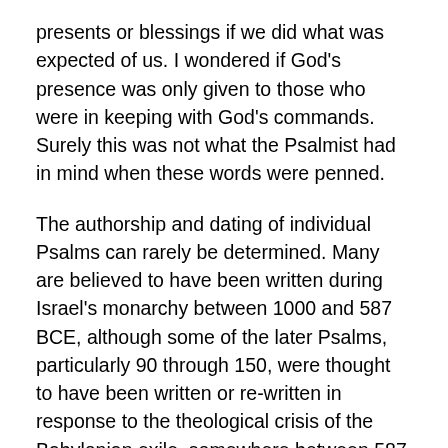presents or blessings if we did what was expected of us. I wondered if God's presence was only given to those who were in keeping with God's commands. Surely this was not what the Psalmist had in mind when these words were penned.
The authorship and dating of individual Psalms can rarely be determined. Many are believed to have been written during Israel's monarchy between 1000 and 587 BCE, although some of the later Psalms, particularly 90 through 150, were thought to have been written or re-written in response to the theological crisis of the Babylonian exile, somewhere between 587 and 539 BCE. Although Psalm 139 is included in those later writings, it is attributed to David. David was King of Israel for forty years. He is often portrayed as a righteous king, an acclaimed warrior, a